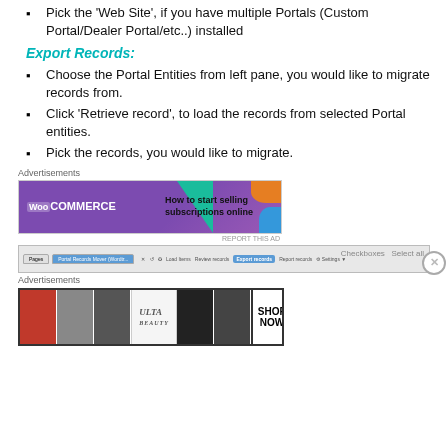Pick the 'Web Site', if you have multiple Portals (Custom Portal/Dealer Portal/etc..) installed
Export Records:
Choose the Portal Entities from left pane, you would like to migrate records from.
Click ‘Retrieve record’, to load the records from selected Portal entities.
Pick the records, you would like to migrate.
[Figure (screenshot): WooCommerce advertisement: How to start selling subscriptions online]
[Figure (screenshot): Portal Records Mover toolbar screenshot with Export records tab active]
[Figure (screenshot): ULTA beauty advertisement with SHOP NOW call to action]